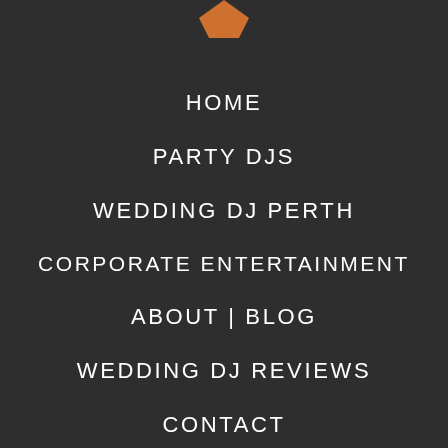[Figure (logo): Partial logo visible at top center, orange/amber colored graphic element]
HOME
PARTY DJS
WEDDING DJ PERTH
CORPORATE ENTERTAINMENT
ABOUT | BLOG
WEDDING DJ REVIEWS
CONTACT